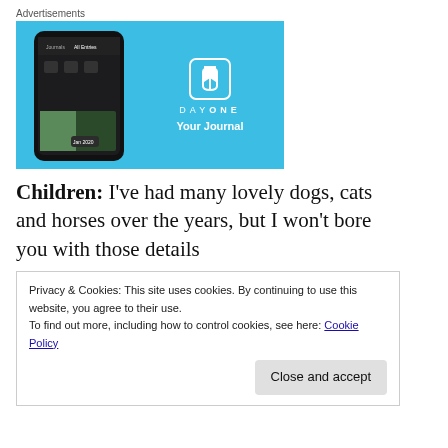Advertisements
[Figure (screenshot): DayOne app advertisement showing a smartphone with the DayOne journal app open, on a light blue background. The right side shows the DayOne logo icon, wordmark 'DAY ONE', and tagline 'Your Journal'.]
Children: I've had many lovely dogs, cats and horses over the years, but I won't bore you with those details
Privacy & Cookies: This site uses cookies. By continuing to use this website, you agree to their use.
To find out more, including how to control cookies, see here: Cookie Policy

Close and accept